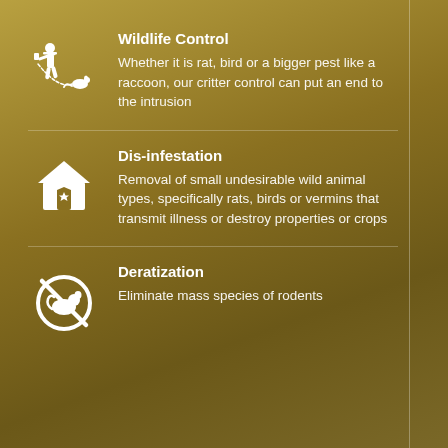[Figure (illustration): White silhouette icon of a person with a pest control tool chasing a rodent]
Wildlife Control
Whether it is rat, bird or a bigger pest like a raccoon, our critter control can put an end to the intrusion
[Figure (illustration): White silhouette icon of a house with a shield/star emblem]
Dis-infestation
Removal of small undesirable wild animal types, specifically rats, birds or vermins that transmit illness or destroy properties or crops
[Figure (illustration): White circle icon with a rodent crossed out (no-rodent symbol)]
Deratization
Eliminate mass species of rodents